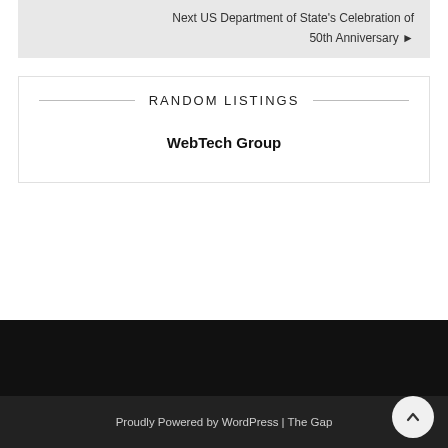Next US Department of State's Celebration of 50th Anniversary ▶
RANDOM LISTINGS
WebTech Group
Proudly Powered by WordPress | The Gap